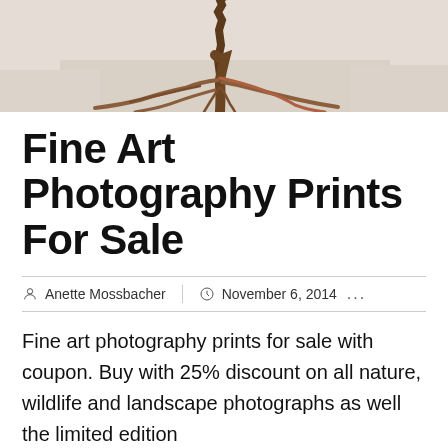[Figure (photo): A tree with exposed roots photographed from above against a sandy/snowy light-colored ground, showing the tree trunk and spreading root system.]
Fine Art Photography Prints For Sale
Anette Mossbacher  |  November 6, 2014  ...
Fine art photography prints for sale with coupon. Buy with 25% discount on all nature, wildlife and landscape photographs as well the limited edition